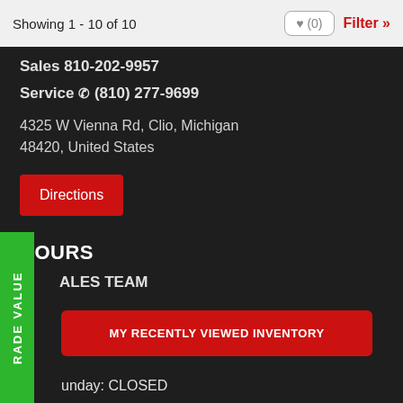Showing 1 - 10 of 10   ♥ (0)   Filter »
Sales 810-202-9957
Service ☎ (810) 277-9699
4325 W Vienna Rd, Clio, Michigan 48420, United States
Directions
HOURS
ALES TEAM
TRADE VALUE
MY RECENTLY VIEWED INVENTORY
unday: CLOSED